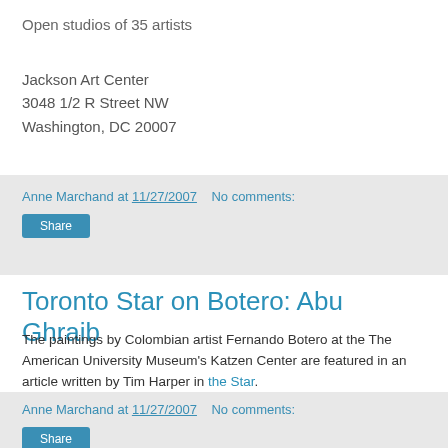Open studios of 35 artists
Jackson Art Center
3048 1/2 R Street NW
Washington, DC 20007
Anne Marchand at 11/27/2007   No comments:
Share
Toronto Star on Botero: Abu Ghraib
The paintings by Colombian artist Fernando Botero at the The American University Museum's Katzen Center are featured in an article written by Tim Harper in the Star.
Anne Marchand at 11/27/2007   No comments:
Share